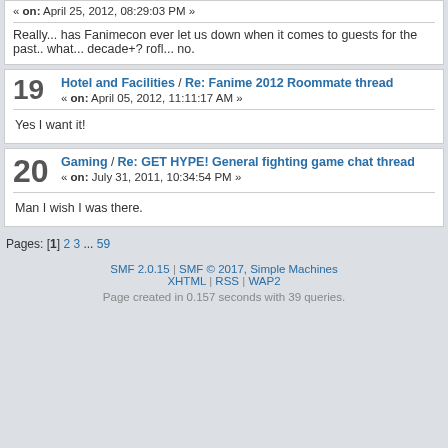Really... has Fanimecon ever let us down when it comes to guests for the past.. what... decade+? rofl... no.
19 Hotel and Facilities / Re: Fanime 2012 Roommate thread « on: April 05, 2012, 11:11:17 AM »
Yes I want it!
20 Gaming / Re: GET HYPE! General fighting game chat thread « on: July 31, 2011, 10:34:54 PM »
Man I wish I was there.
Pages: [1] 2 3 ... 59
SMF 2.0.15 | SMF © 2017, Simple Machines | XHTML | RSS | WAP2 | Page created in 0.157 seconds with 39 queries.